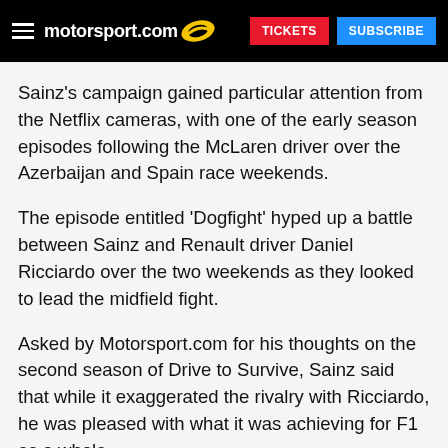motorsport.com | TICKETS | SUBSCRIBE
Sainz's campaign gained particular attention from the Netflix cameras, with one of the early season episodes following the McLaren driver over the Azerbaijan and Spain race weekends.
The episode entitled 'Dogfight' hyped up a battle between Sainz and Renault driver Daniel Ricciardo over the two weekends as they looked to lead the midfield fight.
Asked by Motorsport.com for his thoughts on the second season of Drive to Survive, Sainz said that while it exaggerated the rivalry with Ricciardo, he was pleased with what it was achieving for F1 as a whole.